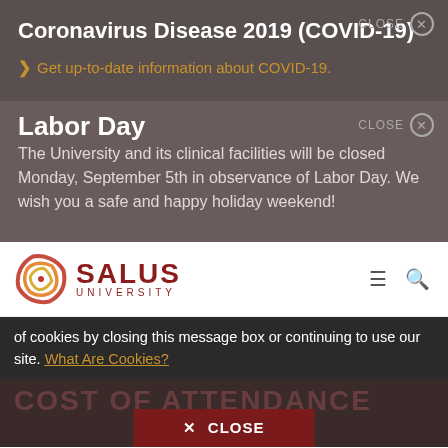Coronavirus Disease 2019 (COVID-19)
> Get up-to-date information about COVID-19.
Labor Day
The University and its clinical facilities will be closed Monday, September 5th in observance of Labor Day. We wish you a safe and happy holiday weekend!
[Figure (logo): Salus University logo with circular ring emblem and text SALUS UNIVERSITY]
of cookies by closing this message box or continuing to use our site. What Are Cookies?
COST OF ATTENDANCE
✕ CLOSE